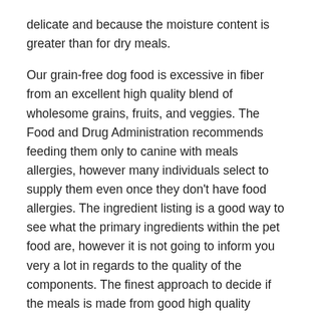delicate and because the moisture content is greater than for dry meals.
Our grain-free dog food is excessive in fiber from an excellent high quality blend of wholesome grains, fruits, and veggies. The Food and Drug Administration recommends feeding them only to canine with meals allergies, however many individuals select to supply them even once they don't have food allergies. The ingredient listing is a good way to see what the primary ingredients within the pet food are, however it is not going to inform you very a lot in regards to the quality of the components. The finest approach to decide if the meals is made from good high quality components similar to meats, grains, vegetables, and fruits is to contact the producer or consult your veterinarian. Choosing the appropriate life stage additionally helps keep your pet nutritionally happy, and avoiding allergens prevents your canine from affected by an allergic reaction.